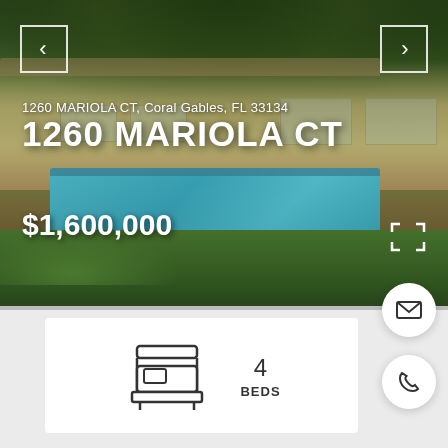[Figure (photo): Exterior photo of a single-story house with pool and lush garden in Coral Gables, FL. Shows yellow stucco house with tile roof, large swimming pool, palm trees, and green lawn.]
1260 MARIOLA CT, Coral Gables, FL 33134
1260 MARIOLA CT
$1,600,000
4
BEDS